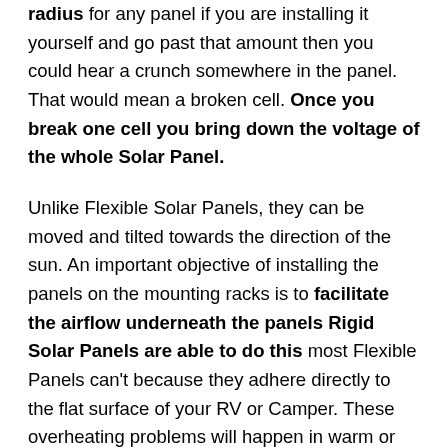radius for any panel if you are installing it yourself and go past that amount then you could hear a crunch somewhere in the panel. That would mean a broken cell. Once you break one cell you bring down the voltage of the whole Solar Panel.
Unlike Flexible Solar Panels, they can be moved and tilted towards the direction of the sun. An important objective of installing the panels on the mounting racks is to facilitate the airflow underneath the panels Rigid Solar Panels are able to do this most Flexible Panels can't because they adhere directly to the flat surface of your RV or Camper. These overheating problems will happen in warm or colder areas of the Country. Other important problems are: